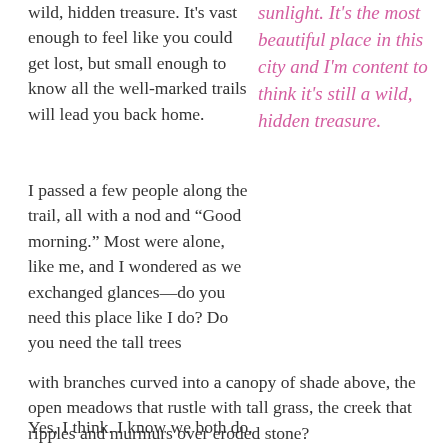wild, hidden treasure. It's vast enough to feel like you could get lost, but small enough to know all the well-marked trails will lead you back home.
sunlight. It's the most beautiful place in this city and I'm content to think it's still a wild, hidden treasure.
I passed a few people along the trail, all with a nod and “Good morning.” Most were alone, like me, and I wondered as we exchanged glances—do you need this place like I do? Do you need the tall trees with branches curved into a canopy of shade above, the open meadows that rustle with tall grass, the creek that ripples and murmurs over eroded stone?
Yes, I think. I know we both do.